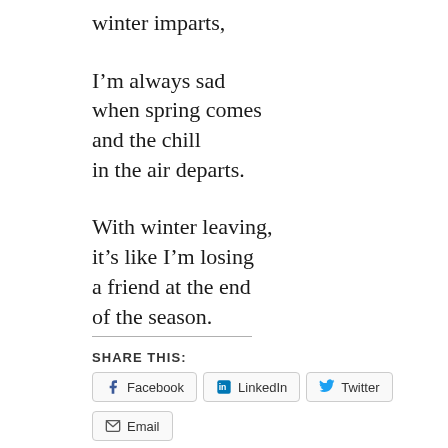winter imparts,
I’m always sad
when spring comes
and the chill
in the air departs.
With winter leaving,
it’s like I’m losing
a friend at the end
of the season.
SHARE THIS:
Facebook  LinkedIn  Twitter  Email